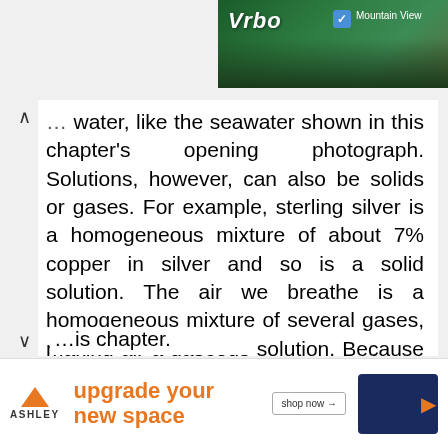[Figure (screenshot): Vrbo advertisement banner showing mountain view with trees and logo]
... water, like the seawater shown in this chapter's opening photograph. Solutions, however, can also be solids or gases. For example, sterling silver is a homogeneous mixture of about 7% copper in silver and so is a solid solution. The air we breathe is a homogeneous mixture of several gases, making air a gaseous solution. Because liquid solutions are the most common, however, we focus our attention on them ...his chapter.
[Figure (screenshot): Ashley Furniture advertisement: 'upgrade your new space' with shop now button and sofa image]